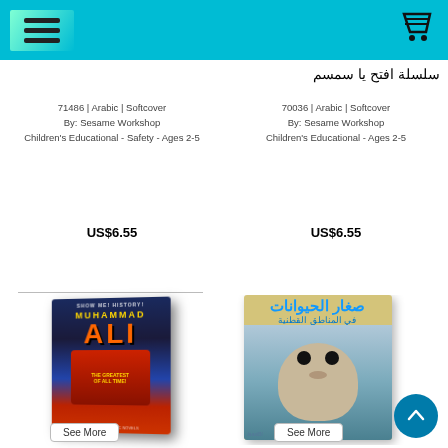Navigation header with hamburger menu and cart icon
سلسلة افتح يا سمسم
71486 | Arabic | Softcover
By: Sesame Workshop
Children's Educational - Safety - Ages 2-5
70036 | Arabic | Softcover
By: Sesame Workshop
Children's Educational - Ages 2-5
US$6.55
US$6.55
[Figure (photo): Book cover of Muhammad Ali from Show Me History series]
[Figure (photo): Arabic book cover 'صغار الحيوانات في المناطق القطنية' showing a seal animal]
See More
See More